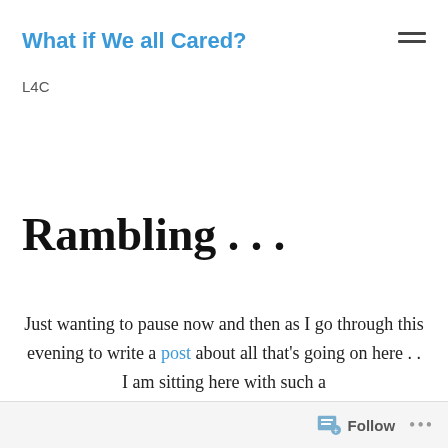What if We all Cared?
L4C
Rambling . . .
Just wanting to pause now and then as I go through this evening to write a post about all that's going on here . . I am sitting here with such a
Follow